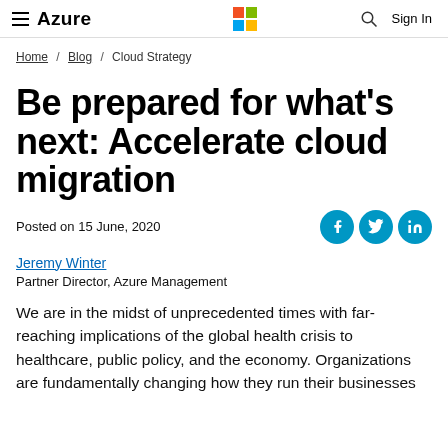≡  Azure   [Microsoft Logo]   🔍   Sign In
Home / Blog / Cloud Strategy
Be prepared for what's next: Accelerate cloud migration
Posted on 15 June, 2020
Jeremy Winter
Partner Director, Azure Management
We are in the midst of unprecedented times with far-reaching implications of the global health crisis to healthcare, public policy, and the economy. Organizations are fundamentally changing how they run their businesses